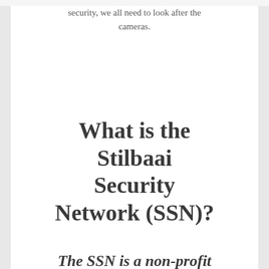security, we all need to look after the cameras.
What is the Stilbaai Security Network (SSN)?
The SSN is a non-profit organisation that was